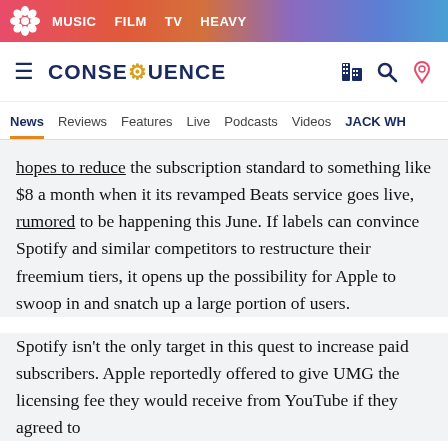MUSIC  FILM  TV  HEAVY
CONSEQUENCE
News  Reviews  Features  Live  Podcasts  Videos  JACK WH
hopes to reduce the subscription standard to something like $8 a month when it its revamped Beats service goes live, rumored to be happening this June. If labels can convince Spotify and similar competitors to restructure their freemium tiers, it opens up the possibility for Apple to swoop in and snatch up a large portion of users.
Spotify isn't the only target in this quest to increase paid subscribers. Apple reportedly offered to give UMG the licensing fee they would receive from YouTube if they agreed to